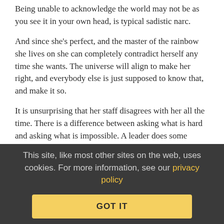Being unable to acknowledge the world may not be as you see it in your own head, is typical sadistic narc.
And since she's perfect, and the master of the rainbow she lives on she can completely contradict herself any time she wants. The universe will align to make her right, and everybody else is just supposed to know that, and make it so.
It is unsurprising that her staff disagrees with her all the time. There is a difference between asking what is hard and asking what is impossible. A leader does some vetting before making huge demands. A sadistic narc doesn't.
From the worker standpoint the behaviors SEEM the same, but they aren't. The worker never sees the vetting.
The problem shows up once a few people know what kind of person she is. All you have to do is appeal to her ego. What your offering doesn't have to make sense, because making sense is
This site, like most other sites on the web, uses cookies. For more information, see our privacy policy
GOT IT